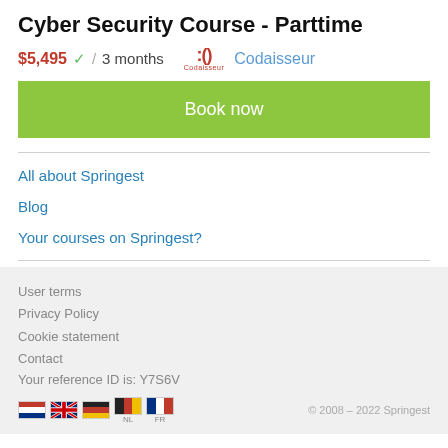Cyber Security Course - Parttime
$5,495 ✓ / 3 months  :() Codaisseur  Codaisseur
Book now
All about Springest
Blog
Your courses on Springest?
User terms
Privacy Policy
Cookie statement
Contact
Your reference ID is: Y7S6V
© 2008 – 2022 Springest